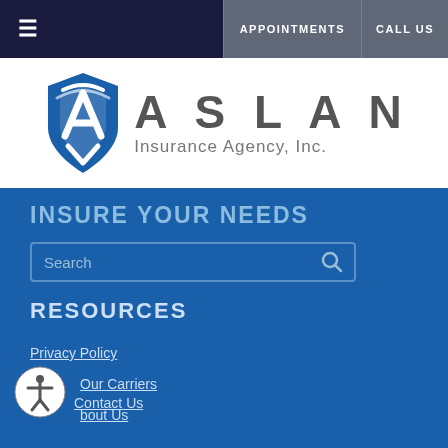APPOINTMENTS  CALL US
[Figure (logo): Aslan Insurance Agency, Inc. logo — blue shield icon with letter A, beside large text ASLAN Insurance Agency, Inc.]
INSURE YOUR NEEDS
Search
RESOURCES
Privacy Policy
Our Carriers
About Us
Contact Us